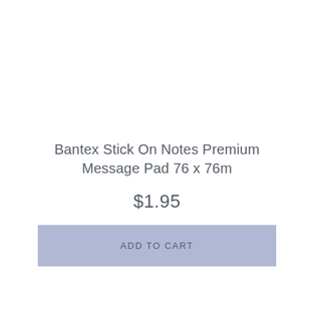Bantex Stick On Notes Premium Message Pad 76 x 76m
$1.95
ADD TO CART